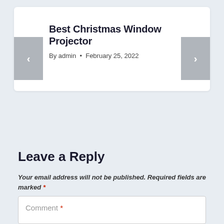Best Christmas Window Projector
By admin • February 25, 2022
Leave a Reply
Your email address will not be published. Required fields are marked *
Comment *